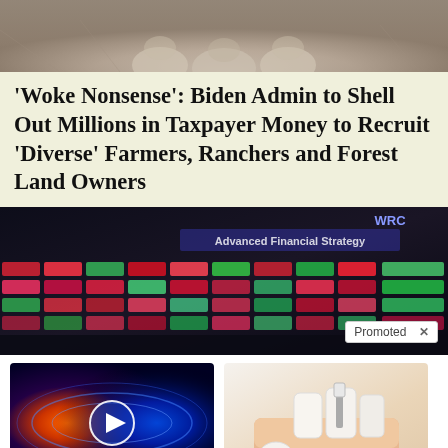[Figure (photo): Close-up photo of animal paws/fur at the top of the page]
‘Woke Nonsense’: Biden Admin to Shell Out Millions in Taxpayer Money to Recruit ‘Diverse’ Farmers, Ranchers and Forest Land Owners
[Figure (photo): Stock market trading floor with colorful ticker screens, 'Promoted' badge overlay]
[Figure (photo): Electromagnetic energy burst with play button overlay - advertisement for strange device]
Why You Need This Strange Device When The Grid Goes Down
🔥 6,299
[Figure (photo): Dental implant model showing tooth implant structure - advertisement for government dental implant grants]
Apply For Government Dental Implant Grants
🔥 6,057